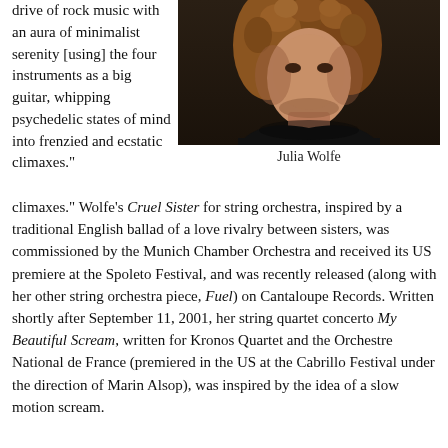drive of rock music with an aura of minimalist serenity [using] the four instruments as a big guitar, whipping psychedelic states of mind into frenzied and ecstatic climaxes."
[Figure (photo): Portrait photograph of Julia Wolfe, a woman with curly reddish-brown hair wearing a black top, dark background.]
Julia Wolfe
Wolfe's Cruel Sister for string orchestra, inspired by a traditional English ballad of a love rivalry between sisters, was commissioned by the Munich Chamber Orchestra and received its US premiere at the Spoleto Festival, and was recently released (along with her other string orchestra piece, Fuel) on Cantaloupe Records. Written shortly after September 11, 2001, her string quartet concerto My Beautiful Scream, written for Kronos Quartet and the Orchestre National de France (premiered in the US at the Cabrillo Festival under the direction of Marin Alsop), was inspired by the idea of a slow motion scream.